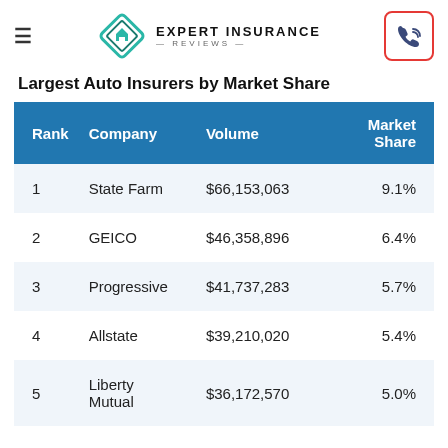Expert Insurance Reviews
Largest Auto Insurers by Market Share
| Rank | Company | Volume | Market Share |
| --- | --- | --- | --- |
| 1 | State Farm | $66,153,063 | 9.1% |
| 2 | GEICO | $46,358,896 | 6.4% |
| 3 | Progressive | $41,737,283 | 5.7% |
| 4 | Allstate | $39,210,020 | 5.4% |
| 5 | Liberty Mutual | $36,172,570 | 5.0% |